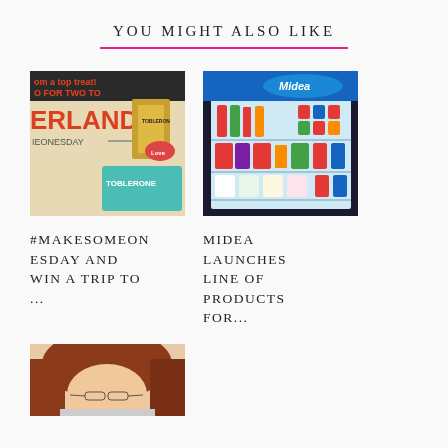YOU MIGHT ALSO LIKE
[Figure (photo): Toblerone promotional image with text 'om a top treat! O FOR TWO TO ERLAND IEONESDAY']
[Figure (photo): Midea refrigerator full of beverages and food items, with Midea logo visible at top]
#MAKESOMEONESDAY AND WIN A TRIP TO ...
MIDEA LAUNCHES LINE OF PRODUCTS FOR...
[Figure (photo): Woman with reddish-brown hair looking down, partially visible at bottom of page]